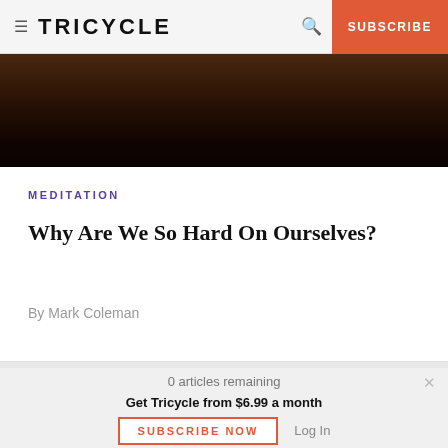≡ TRICYCLE  🔍  SUBSCRIBE
[Figure (photo): Dark landscape hero image with warm amber-brown tones, mountain silhouette visible at top]
MEDITATION
Why Are We So Hard On Ourselves?
By Mark Coleman
0 articles remaining
Get Tricycle from $6.99 a month
SUBSCRIBE NOW   Log In